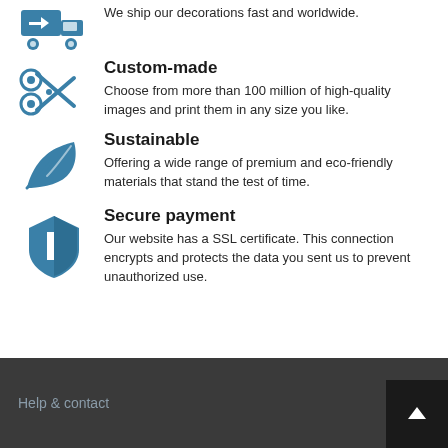[Figure (illustration): Blue delivery truck icon (partially visible at top)]
We ship our decorations fast and worldwide.
[Figure (illustration): Blue scissors/cut icon]
Custom-made
Choose from more than 100 million of high-quality images and print them in any size you like.
[Figure (illustration): Blue leaf/eco icon]
Sustainable
Offering a wide range of premium and eco-friendly materials that stand the test of time.
[Figure (illustration): Blue shield/security icon]
Secure payment
Our website has a SSL certificate. This connection encrypts and protects the data you sent us to prevent unauthorized use.
Help & contact